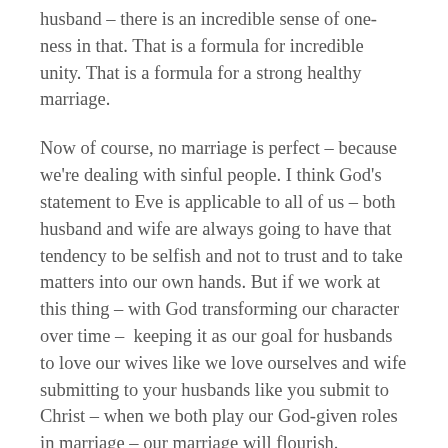husband – there is an incredible sense of one-ness in that. That is a formula for incredible unity. That is a formula for a strong healthy marriage.
Now of course, no marriage is perfect – because we're dealing with sinful people. I think God's statement to Eve is applicable to all of us – both husband and wife are always going to have that tendency to be selfish and not to trust and to take matters into our own hands. But if we work at this thing – with God transforming our character over time –  keeping it as our goal for husbands to love our wives like we love ourselves and wife submitting to your husbands like you submit to Christ – when we both play our God-given roles in marriage – our marriage will flourish.